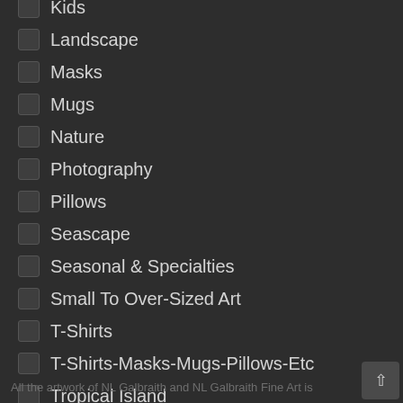Kids
Landscape
Masks
Mugs
Nature
Photography
Pillows
Seascape
Seasonal & Specialties
Small To Over-Sized Art
T-Shirts
T-Shirts-Masks-Mugs-Pillows-Etc
Tropical Island
All the artwork of NL Galbraith and NL Galbraith Fine Art is